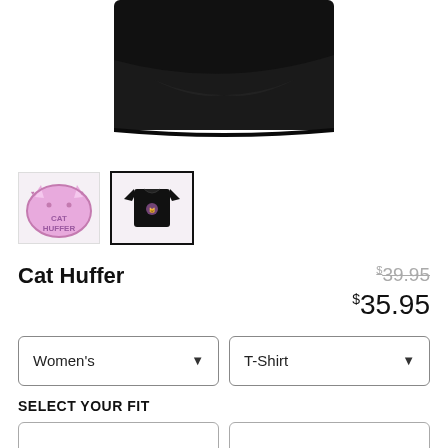[Figure (photo): Black t-shirt product photo, bottom portion visible showing folded fabric]
[Figure (photo): Thumbnail 1: Cat Huffer sticker/patch with pink cat face and text 'CAT HUFFER']
[Figure (photo): Thumbnail 2 (selected): Black t-shirt with Cat Huffer design, selected thumbnail with black border]
Cat Huffer
$39.95 (strikethrough) $35.95
Women's dropdown | T-Shirt dropdown
SELECT YOUR FIT